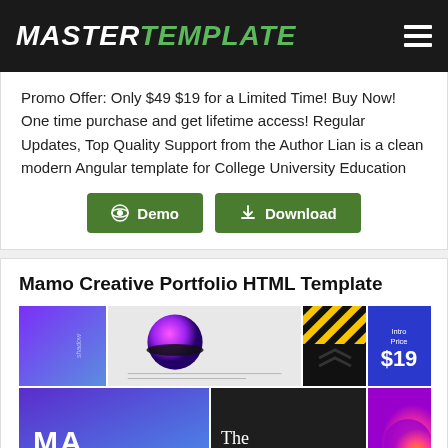MASTERTEMPLATE
Promo Offer: Only $49 $19 for a Limited Time! Buy Now! One time purchase and get lifetime access! Regular Updates, Top Quality Support from the Author Lian is a clean modern Angular template for College University Education
Demo   Download
Mamo Creative Portfolio HTML Template
[Figure (screenshot): Preview grid of Mamo Creative Portfolio HTML Template showing multiple page designs including purple gradient, circular design, black and white stripes, blue intro price panel showing $19, colorful abstract layouts, dark nuclear-themed page, and magenta gradient sections]